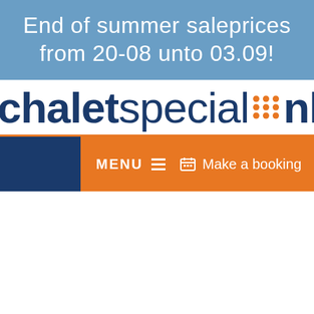End of summer saleprices from 20-08 unto 03.09!
[Figure (logo): chaletspecial.nl logo with orange dot grid separator and orange underline]
[Figure (screenshot): Navigation bar with dark navy background, orange MENU button with hamburger icon on left, and orange Make a booking button with calendar icon on right]